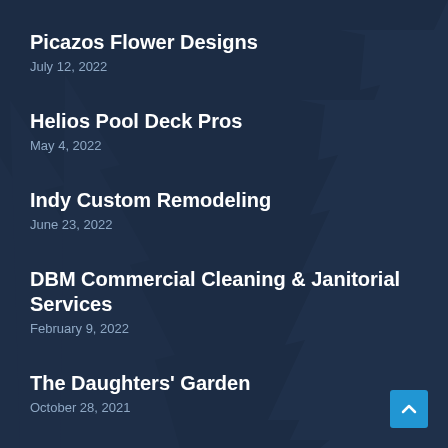Picazos Flower Designs
July 12, 2022
Helios Pool Deck Pros
May 4, 2022
Indy Custom Remodeling
June 23, 2022
DBM Commercial Cleaning & Janitorial Services
February 9, 2022
The Daughters' Garden
October 28, 2021